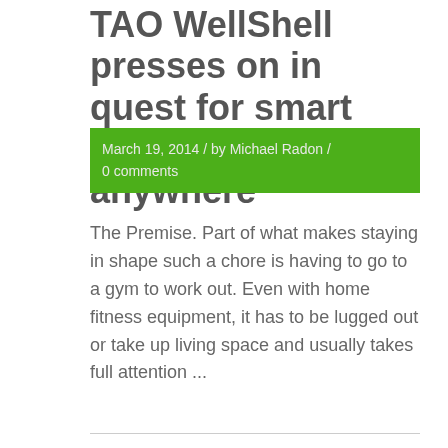TAO WellShell presses on in quest for smart isometric workout anywhere
March 19, 2014 / by Michael Radon / 0 comments
The Premise. Part of what makes staying in shape such a chore is having to go to a gym to work out. Even with home fitness equipment, it has to be lugged out or take up living space and usually takes full attention ...